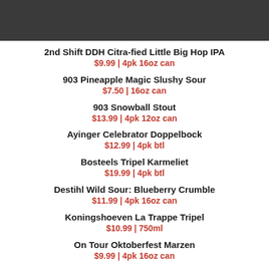[Figure (other): Dark gray header bar]
2nd Shift DDH Citra-fied Little Big Hop IPA
$9.99 | 4pk 16oz can
903 Pineapple Magic Slushy Sour
$7.50 | 16oz can
903 Snowball Stout
$13.99 | 4pk 12oz can
Ayinger Celebrator Doppelbock
$12.99 | 4pk btl
Bosteels Tripel Karmeliet
$19.99 | 4pk btl
Destihl Wild Sour: Blueberry Crumble
$11.99 | 4pk 16oz can
Koningshoeven La Trappe Tripel
$10.99 | 750ml
On Tour Oktoberfest Marzen
$9.99 | 4pk 16oz can